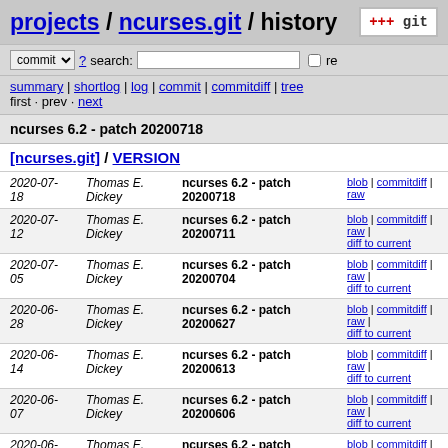projects / ncurses.git / history
commit ? search: re
summary | shortlog | log | commit | commitdiff | tree
first · prev · next
ncurses 6.2 - patch 20200718
[ncurses.git] / VERSION
| Date | Author | Message | Links |
| --- | --- | --- | --- |
| 2020-07-18 | Thomas E. Dickey | ncurses 6.2 - patch 20200718 | blob | commitdiff | raw |
| 2020-07-12 | Thomas E. Dickey | ncurses 6.2 - patch 20200711 | blob | commitdiff | raw | diff to current |
| 2020-07-05 | Thomas E. Dickey | ncurses 6.2 - patch 20200704 | blob | commitdiff | raw | diff to current |
| 2020-06-28 | Thomas E. Dickey | ncurses 6.2 - patch 20200627 | blob | commitdiff | raw | diff to current |
| 2020-06-14 | Thomas E. Dickey | ncurses 6.2 - patch 20200613 | blob | commitdiff | raw | diff to current |
| 2020-06-07 | Thomas E. Dickey | ncurses 6.2 - patch 20200606 | blob | commitdiff | raw | diff to current |
| 2020-06-01 | Thomas E. Dickey | ncurses 6.2 - patch 20200531 | blob | commitdiff | raw | diff to current |
| 2020-05-24 | Thomas E. Dickey | ncurses 6.2 - patch 20200523 | blob | commitdiff | raw | diff to current |